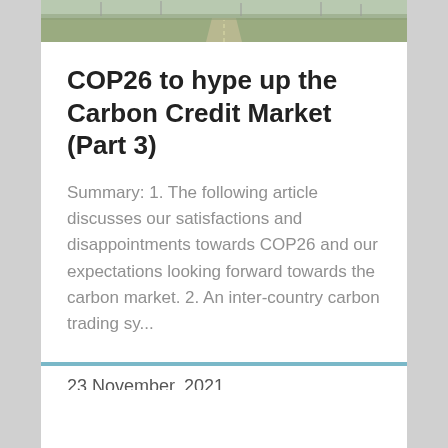[Figure (photo): Aerial or ground-level photo of a road through flat agricultural fields with wind turbines or power lines in the background under a pale sky.]
COP26 to hype up the Carbon Credit Market (Part 3)
Summary: 1. The following article discusses our satisfactions and disappointments towards COP26 and our expectations looking forward towards the carbon market. 2. An inter-country carbon trading sy...
23 November, 2021